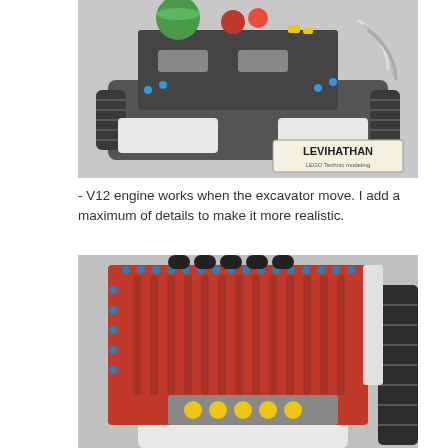[Figure (photo): Top-down view of a LEGO Technic excavator model showing internal mechanisms, colorful components (green, red, yellow, blue pieces), V12 engine detail, gray tracked chassis, and a LEVIHATHAN LEGO Technic modeling watermark in the bottom right corner.]
- V12 engine works when the excavator move. I add a maximum of details to make it more realistic.
[Figure (photo): Close-up view of a LEGO Technic excavator model showing a red and white body with blue pin details along the edges, black cylindrical rollers on top, a gray V12 engine block with yellow pistons visible at the bottom, and a dark gray rubber track on the right side.]